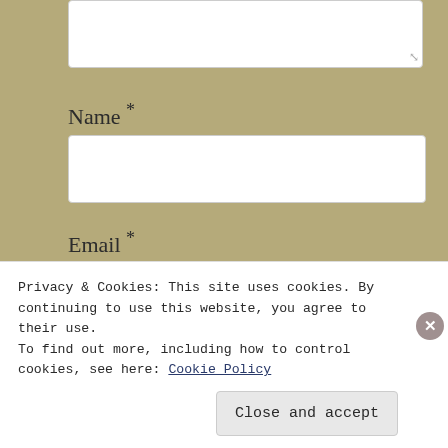Name *
Email *
Website
Privacy & Cookies: This site uses cookies. By continuing to use this website, you agree to their use.
To find out more, including how to control cookies, see here: Cookie Policy
Close and accept